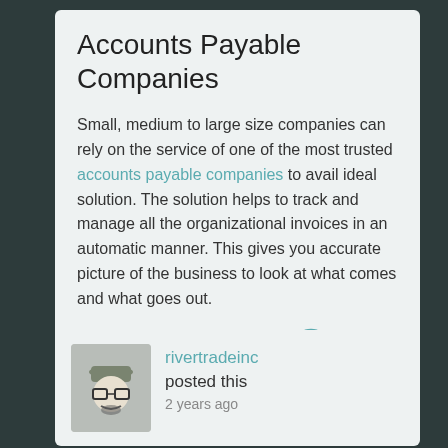Accounts Payable Companies
Small, medium to large size companies can rely on the service of one of the most trusted accounts payable companies to avail ideal solution. The solution helps to track and manage all the organizational invoices in an automatic manner. This gives you accurate picture of the business to look at what comes and what goes out.
[Figure (other): Social interaction icons: heart (like), speech bubble (comment), chain link (share)]
rivertradeinc
posted this
2 years ago